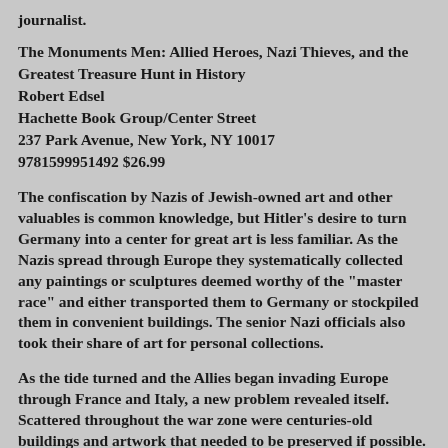journalist.
The Monuments Men: Allied Heroes, Nazi Thieves, and the Greatest Treasure Hunt in History
Robert Edsel
Hachette Book Group/Center Street
237 Park Avenue, New York, NY 10017
9781599951492 $26.99
The confiscation by Nazis of Jewish-owned art and other valuables is common knowledge, but Hitler's desire to turn Germany into a center for great art is less familiar. As the Nazis spread through Europe they systematically collected any paintings or sculptures deemed worthy of the "master race" and either transported them to Germany or stockpiled them in convenient buildings. The senior Nazi officials also took their share of art for personal collections.
As the tide turned and the Allies began invading Europe through France and Italy, a new problem revealed itself. Scattered throughout the war zone were centuries-old buildings and artwork that needed to be preserved if possible. Enter the Monuments Men. Officially known as members of the Monuments, Fine Arts, and Archives (MFAA) section of the army, this handful of men were tasked with finding and